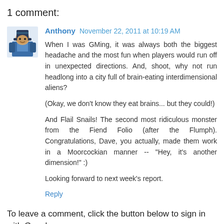1 comment:
Anthony November 22, 2011 at 10:19 AM
When I was GMing, it was always both the biggest headache and the most fun when players would run off in unexpected directions. And, shoot, why not run headlong into a city full of brain-eating interdimensional aliens?

(Okay, we don't know they eat brains... but they could!)

And Flail Snails! The second most ridiculous monster from the Fiend Folio (after the Flumph). Congratulations, Dave, you actually, made them work in a Moorcockian manner -- "Hey, it's another dimension!" :)

Looking forward to next week's report.
Reply
To leave a comment, click the button below to sign in with Google.